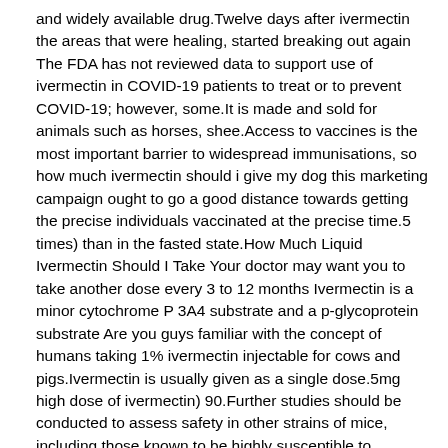and widely available drug.Twelve days after ivermectin the areas that were healing, started breaking out again The FDA has not reviewed data to support use of ivermectin in COVID-19 patients to treat or to prevent COVID-19; however, some.It is made and sold for animals such as horses, shee.Access to vaccines is the most important barrier to widespread immunisations, so how much ivermectin should i give my dog this marketing campaign ought to go a good distance towards getting the precise individuals vaccinated at the precise time.5 times) than in the fasted state.How Much Liquid Ivermectin Should I Take Your doctor may want you to take another dose every 3 to 12 months Ivermectin is a minor cytochrome P 3A4 substrate and a p-glycoprotein substrate Are you guys familiar with the concept of humans taking 1% ivermectin injectable for cows and pigs.Ivermectin is usually given as a single dose.5mg high dose of ivermectin) 90.Further studies should be conducted to assess safety in other strains of mice, including those known to be highly susceptible to ivermectin toxicity Dr.ONLY THE 1% INJECTABLE solution or the horse paste may be ingested.Take ivermectin on an empty stomach, at least 1 hour before or 2 hours after a meal.Let's say the concentration of your medicine is 2 mg/ml.If the patient how much liquid ivermectin should i take was knocking